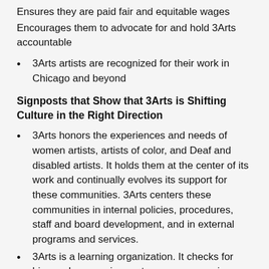Ensures they are paid fair and equitable wages
Encourages them to advocate for and hold 3Arts accountable
3Arts artists are recognized for their work in Chicago and beyond
Signposts that Show that 3Arts is Shifting Culture in the Right Direction
3Arts honors the experiences and needs of women artists, artists of color, and Deaf and disabled artists. It holds them at the center of its work and continually evolves its support for these communities. 3Arts centers these communities in internal policies, procedures, staff and board development, and in external programs and services.
3Arts is a learning organization. It checks for bias and oppressive systems on an ongoing basis. It